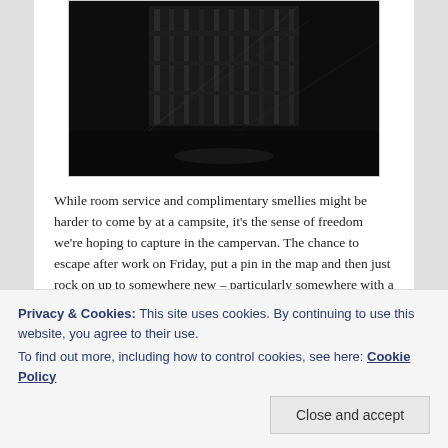[Figure (photo): Dark black and white photograph showing what appears to be a gate or metal structure with reflections, very dark tones.]
While room service and complimentary smellies might be harder to come by at a campsite, it's the sense of freedom we're hoping to capture in the campervan. The chance to escape after work on Friday, put a pin in the map and then just rock on up to somewhere new – particularly somewhere with a beautiful view. (Of course the fact we'll
Privacy & Cookies: This site uses cookies. By continuing to use this website, you agree to their use.
To find out more, including how to control cookies, see here: Cookie Policy